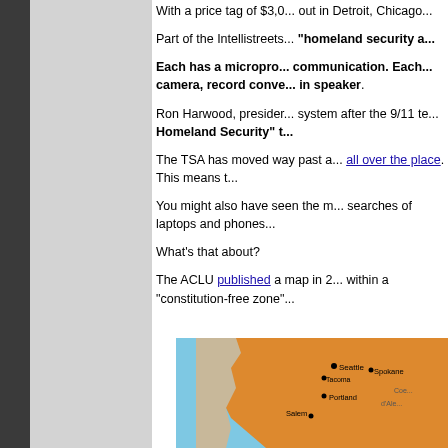With a price tag of $3,0... out in Detroit, Chicago...
Part of the Intellistreets... "homeland security a..."
Each has a micropro... communication. Each... camera, record conve... in speaker.
Ron Harwood, presider... system after the 9/11 te... Homeland Security" t...
The TSA has moved way past a... all over the place. This means t...
You might also have seen the m... searches of laptops and phones...
What’s that about?
The ACLU published a map in 2... within a “constitution-free zone”...
[Figure (map): ACLU map showing constitution-free zone along US west coast, including Seattle, Tacoma, Spokane, Portland, Salem, and other cities highlighted in orange]